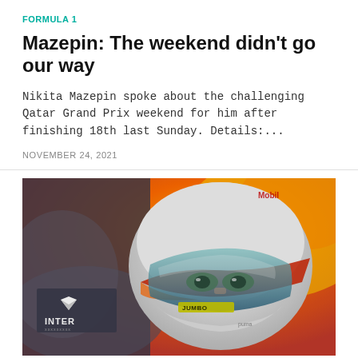FORMULA 1
Mazepin: The weekend didn't go our way
Nikita Mazepin spoke about the challenging Qatar Grand Prix weekend for him after finishing 18th last Sunday. Details:...
NOVEMBER 24, 2021
[Figure (photo): Close-up photo of a Formula 1 driver in a helmet with Red Bull Racing livery (white, red, orange), with INTER sponsor logo visible on the car and JUMBO branding on the helmet visor. Background shows orange and yellow car elements.]